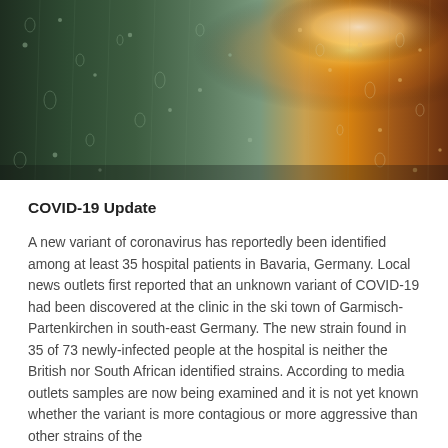[Figure (photo): Close-up photo of a rain-covered glass window with droplets. The left side shows dark green tones and the right side glows with warm amber/orange light from outside, suggesting city lights or sunlight through the wet glass.]
COVID-19 Update
A new variant of coronavirus has reportedly been identified among at least 35 hospital patients in Bavaria, Germany. Local news outlets first reported that an unknown variant of COVID-19 had been discovered at the clinic in the ski town of Garmisch-Partenkirchen in south-east Germany. The new strain found in 35 of 73 newly-infected people at the hospital is neither the British nor South African identified strains. According to media outlets samples are now being examined and it is not yet known whether the variant is more contagious or more aggressive than other strains of the virus. The future of coronavirus variants is currently being…